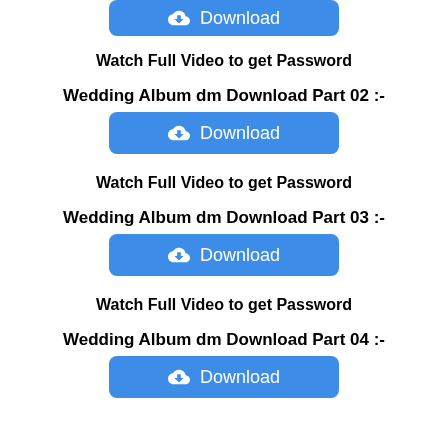[Figure (screenshot): Partial blue Download button at top of page]
Watch Full Video to get Password
Wedding Album dm Download Part 02 :-
[Figure (screenshot): Blue Download button with cloud icon]
Watch Full Video to get Password
Wedding Album dm Download Part 03 :-
[Figure (screenshot): Blue Download button with cloud icon]
Watch Full Video to get Password
Wedding Album dm Download Part 04 :-
[Figure (screenshot): Blue Download button with cloud icon]